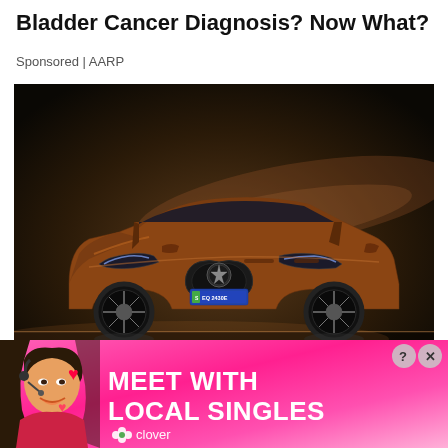Bladder Cancer Diagnosis? Now What?
Sponsored | AARP
[Figure (photo): A copper/bronze colored Mercedes-Benz EQB electric SUV photographed in a dramatic studio setting with dark background and warm lighting. License plate reads AS EQ 2430E.]
Mercedes latest EQB EV Amazing With
[Figure (photo): Dating app advertisement banner with pink gradient background. Shows a smiling woman with headset on the left with heart emojis. Text reads 'MEET WITH LOCAL SINGLES' with Clover logo at bottom. Has question mark and X close buttons in top right.]